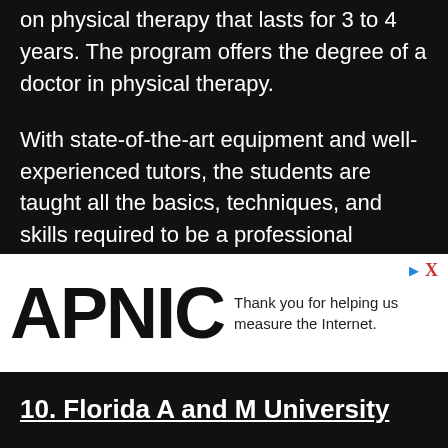on physical therapy that lasts for 3 to 4 years. The program offers the degree of a doctor in physical therapy.
With state-of-the-art equipment and well-experienced tutors, the students are taught all the basics, techniques, and skills required to be a professional physiotherapist.
Students are allowed to participate in three clinical practices. This lasts for 6 to 12 weeks, and the students gain practical experience in patient care.
[Figure (other): APNIC advertisement overlay with text 'Thank you for helping us measure the Internet.' and a close button X]
10. Florida A and M University